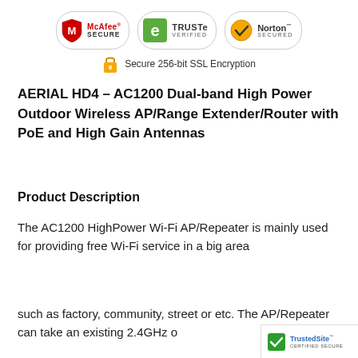[Figure (logo): McAfee SECURE, TRUSTe VERIFIED, and Norton SECURED security badges displayed in a row]
Secure 256-bit SSL Encryption
AERIAL HD4 – AC1200 Dual-band High Power Outdoor Wireless AP/Range Extender/Router with PoE and High Gain Antennas
Product Description
The AC1200 HighPower Wi-Fi AP/Repeater is mainly used for providing free Wi-Fi service in a big area
such as factory, community, street or etc. The AP/Repeater can take an existing 2.4GHz o
[Figure (logo): TrustedSite CERTIFIED SECURE badge overlay in bottom-right corner]